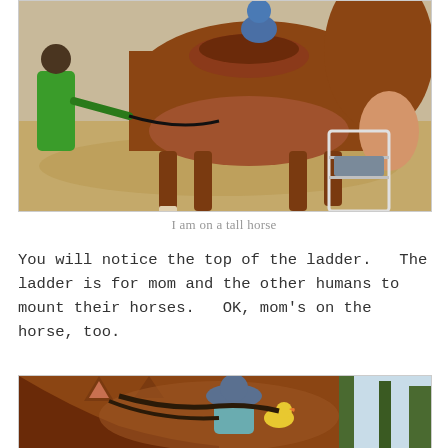[Figure (photo): A child riding a tall brown horse, being led by a person in a green shirt. A mounting ladder is visible on the right side. Sandy ground in the background.]
I am on a tall horse
You will notice the top of the ladder.   The ladder is for mom and the other humans to mount their horses.   OK, mom's on the horse, too.
[Figure (photo): View from behind/above a horse's head and ears, with a rider wearing a helmet visible in the middle distance. Trees in the background on the right.]